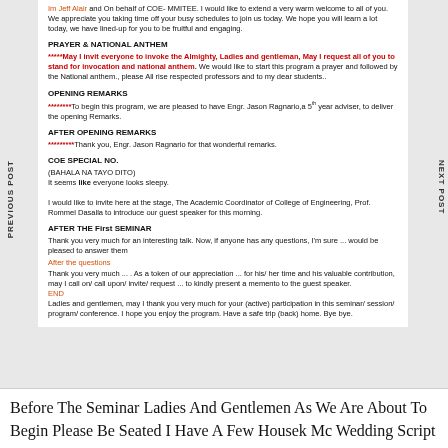Im Jeff Alair  and On behalf of COE- MMITEE. I would like to extend a very warm welcome to all of you. We appreciate you taking time off your busy schedules to join us today. We hope you will learn a lot today, we have lined-up for you to be fruitful and engaging.
PRAYER & NATIONAL ANTHEM
*****May I invit everyone to invoke the Almighty, Ladies and gentleman, May I request all of you to stand for invocation and national anthem. We would like to start this program a prayer and followed by the National anthem., please All rise respected professors and to my dear students..
OPENING REMARKS
********To begin this program, we are pleased to have Engr. Jason Ragnario,a 5th year adviser, to deliver the opening Remarks.
AFTER OPENING REMARKS
*********Thank you, Engr. Jason Ragnario for that wonderful remarks.
COE SPECIAL NO.
(BAHALA NA TAYO DITO)
It seems like everyone looks sleepy.

I would like to invite here at the stage,  The Academic Coordinator of College of Engineering, Prof. Rommel Dasalla to introduce our guest speaker for this morning.
AFTER THE First SEMINAR
Thank you very much for an interesting talk. Now, if anyone has any questions, I'm sure ... would be pleased to answer them
After the questions
Thank you very much ... . As a token of our appreciation ... for his/ her time and his valuable contribution, may I call on/ call upon/ invite/ request ... to kindly present a memento to the guest speaker.
END
Ladies and gentlemen, may I thank you very much for your (active) participation in this seminar/ session/ program/ conference. I hope you enjoy the program. Have a safe trip (back) home. Bye bye.
PREVIOUS POST
NEXT POST
Before The Seminar Ladies And Gentlemen As We Are About To Begin Please Be Seated I Have A Few Housek Mc Wedding Script